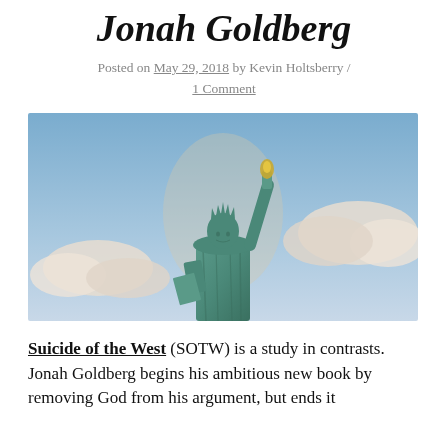Jonah Goldberg
Posted on May 29, 2018 by Kevin Holtsberry / 1 Comment
[Figure (photo): Photograph of the Statue of Liberty against a blue sky with white clouds]
Suicide of the West (SOTW) is a study in contrasts. Jonah Goldberg begins his ambitious new book by removing God from his argument, but ends it